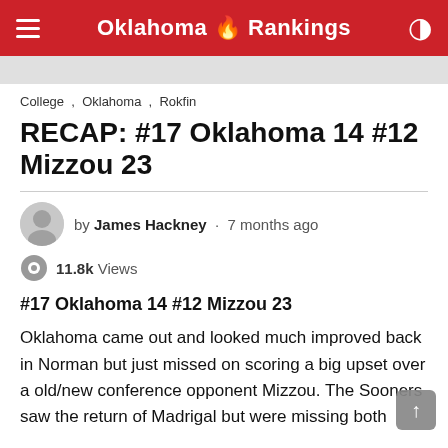Oklahoma 🔥 Rankings
College , Oklahoma , Rokfin
RECAP: #17 Oklahoma 14 #12 Mizzou 23
by James Hackney · 7 months ago
11.8k Views
#17 Oklahoma 14 #12 Mizzou 23
Oklahoma came out and looked much improved back in Norman but just missed on scoring a big upset over a old/new conference opponent Mizzou. The Sooners saw the return of Madrigal but were missing both